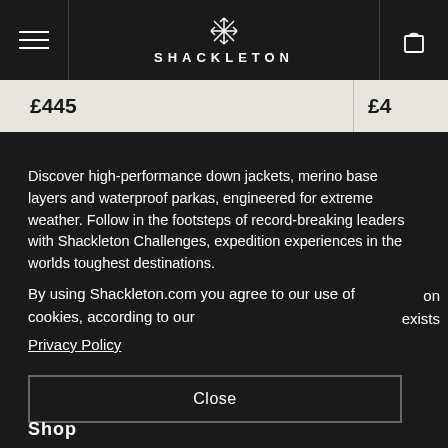SHACKLETON
£445   £4
Discover high-performance down jackets, merino base layers and waterproof parkas, engineered for extreme weather. Follow in the footsteps of record-breaking leaders with Shackleton Challenges, expedition experiences in the worlds toughest destinations.
By using Shackleton.com you agree to our use of cookies, according to our
Privacy Policy
on exists
Close
Shop